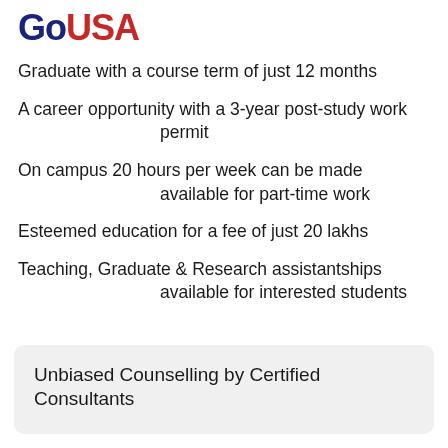GoUSA
Graduate with a course term of just 12 months
A career opportunity with a 3-year post-study work permit
On campus 20 hours per week can be made available for part-time work
Esteemed education for a fee of just 20 lakhs
Teaching, Graduate & Research assistantships available for interested students
Unbiased Counselling by Certified Consultants